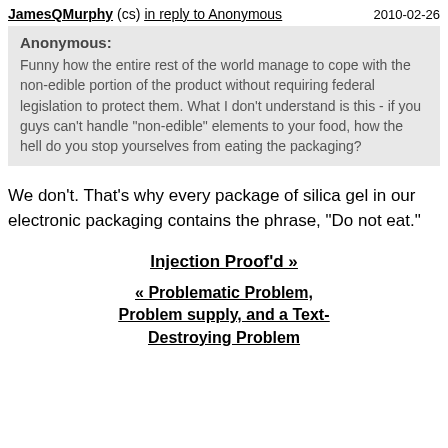JamesQMurphy (cs) in reply to Anonymous 2010-02-26
Anonymous: Funny how the entire rest of the world manage to cope with the non-edible portion of the product without requiring federal legislation to protect them. What I don't understand is this - if you guys can't handle "non-edible" elements to your food, how the hell do you stop yourselves from eating the packaging?
We don't. That's why every package of silica gel in our electronic packaging contains the phrase, "Do not eat."
Injection Proof'd »
« Problematic Problem, Problem supply, and a Text-Destroying Problem